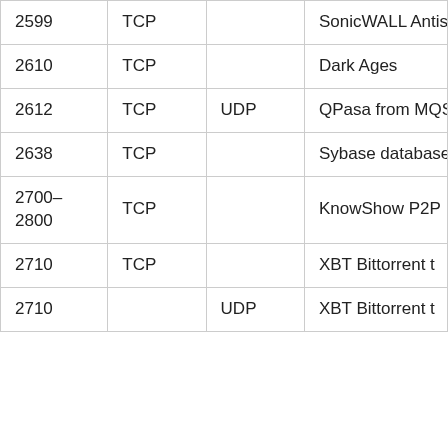| Port | TCP | UDP | Description |
| --- | --- | --- | --- |
| 2599 | TCP |  | SonicWALL Antispam t and Contro |
| 2610 | TCP |  | Dark Ages |
| 2612 | TCP | UDP | QPasa from MQSo |
| 2638 | TCP |  | Sybase database li |
| 2700–2800 | TCP |  | KnowShow P2P |
| 2710 | TCP |  | XBT Bittorrent t |
| 2710 |  | UDP | XBT Bittorrent t |